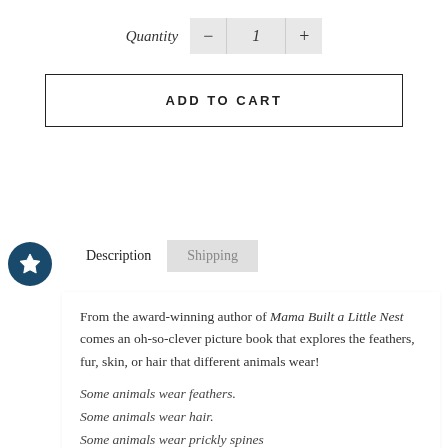Quantity  −  1  +
ADD TO CART
Description
Shipping
From the award-winning author of Mama Built a Little Nest comes an oh-so-clever picture book that explores the feathers, fur, skin, or hair that different animals wear!
Some animals wear feathers.
Some animals wear hair.
Some animals wear prickly spines